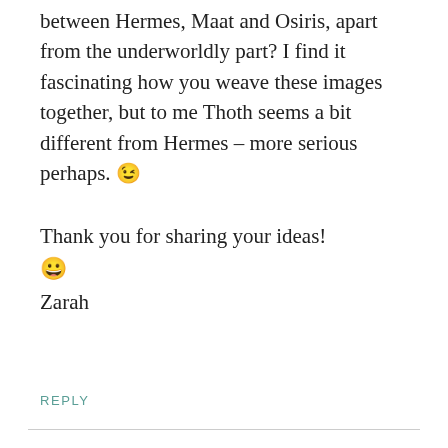between Hermes, Maat and Osiris, apart from the underworldly part? I find it fascinating how you weave these images together, but to me Thoth seems a bit different from Hermes – more serious perhaps. 😉
Thank you for sharing your ideas!
😀
Zarah
REPLY